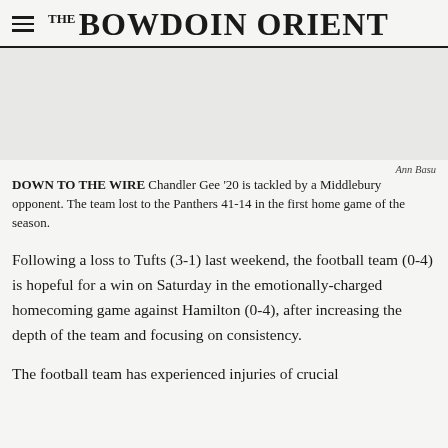THE BOWDOIN ORIENT
[Figure (photo): Gray placeholder image area representing a football game photo]
Ann Basu
DOWN TO THE WIRE Chandler Gee '20 is tackled by a Middlebury opponent. The team lost to the Panthers 41-14 in the first home game of the season.
Following a loss to Tufts (3-1) last weekend, the football team (0-4) is hopeful for a win on Saturday in the emotionally-charged homecoming game against Hamilton (0-4), after increasing the depth of the team and focusing on consistency.
The football team has experienced injuries of crucial